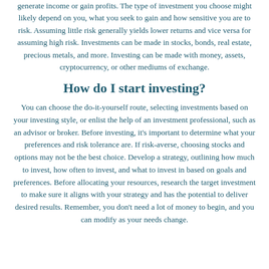generate income or gain profits. The type of investment you choose might likely depend on you, what you seek to gain and how sensitive you are to risk. Assuming little risk generally yields lower returns and vice versa for assuming high risk. Investments can be made in stocks, bonds, real estate, precious metals, and more. Investing can be made with money, assets, cryptocurrency, or other mediums of exchange.
How do I start investing?
You can choose the do-it-yourself route, selecting investments based on your investing style, or enlist the help of an investment professional, such as an advisor or broker. Before investing, it's important to determine what your preferences and risk tolerance are. If risk-averse, choosing stocks and options may not be the best choice. Develop a strategy, outlining how much to invest, how often to invest, and what to invest in based on goals and preferences. Before allocating your resources, research the target investment to make sure it aligns with your strategy and has the potential to deliver desired results. Remember, you don't need a lot of money to begin, and you can modify as your needs change.